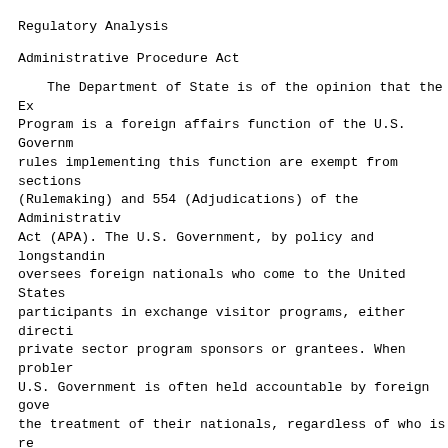Regulatory Analysis
Administrative Procedure Act
The Department of State is of the opinion that the Exchange Visitor Program is a foreign affairs function of the U.S. Government, and rules implementing this function are exempt from sections 553 (Rulemaking) and 554 (Adjudications) of the Administrative Procedure Act (APA). The U.S. Government, by policy and longstanding practice, oversees foreign nationals who come to the United States as participants in exchange visitor programs, either directly or through private sector program sponsors or grantees. When problems occur, the U.S. Government is often held accountable by foreign governments for the treatment of their nationals, regardless of who is responsible for the problems. The purpose of this final rule is to amend the administrative provisions for the Exchange Visitor Program regulations and associated Appendices, in accordance with the Act and to better protect the health, safety and welfare of foreign nationals visiting the United States (often on programs funded by the U.S. Government) for a finite period of time and with a view that they will return to their countries of nationality upon completion of their programs. The Department of State represents that failure to take steps to protect the health, safety and welfare of these foreign nationals could have direct and substantial adverse effects on the foreign affairs of the United States. Although the Department is of the opinion that this rule is exempt from the rulemaking provisions of the APA, the Department previously published this rule as a notice of proposed rulemaking with a 60-day provision for public comment; and it is now publishing this rule as a final rule with a 60-day provision for public comment.